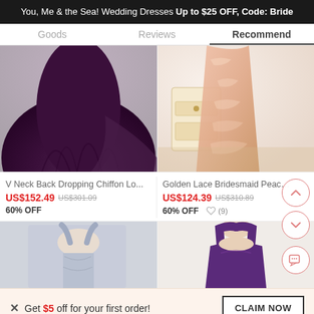You, Me & the Sea! Wedding Dresses Up to $25 OFF, Code: Bride
Goods   Reviews   Recommend
[Figure (photo): Purple chiffon long dress on model, lower half visible]
[Figure (photo): Peach/rose gold lace bridesmaid dress on mannequin with furniture in background]
V Neck Back Dropping Chiffon Lo...
Golden Lace Bridesmaid Peach Br...
US$152.49  US$301.09
US$124.39  US$310.89
60% OFF  (9)  60% OFF
[Figure (photo): Blue/grey dress on mannequin, upper body cropped]
[Figure (photo): Purple top dress on model, upper body cropped]
× Get $5 off for your first order!
CLAIM NOW
ADD TO BAG